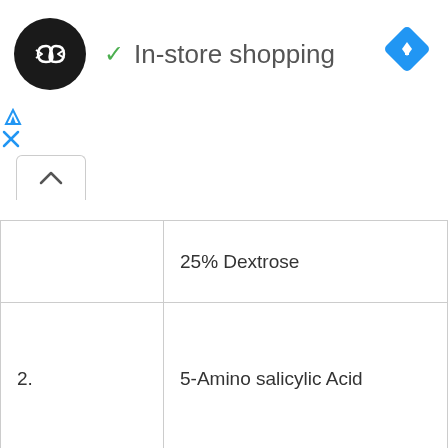In-store shopping
|  | 25% Dextrose |
| 2. | 5-Amino salicylic Acid |
|  |  |